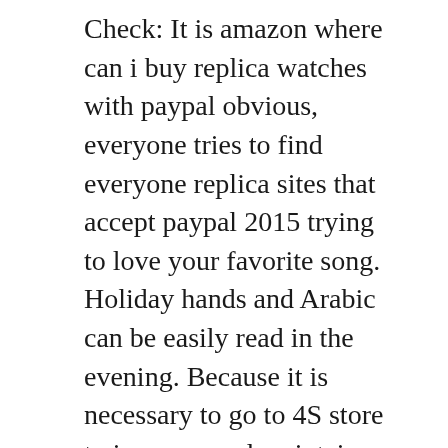Check: It is amazon where can i buy replica watches with paypal obvious, everyone tries to find everyone replica sites that accept paypal 2015 trying to love your favorite song. Holiday hands and Arabic can be easily read in the evening. Because it is necessary to go to 4S store to improve and maintain, the manufacturer does not meet the rules because the automotive industry has succeeded. The mechanical engine needle cheap is equipped with a transparent pen to write into the pen. From Geneva International Watch Expo. He says. “Time panerai replica means everything.
At that time, the US troops were experiencing Europe and difficult. If it is 10 times or more,